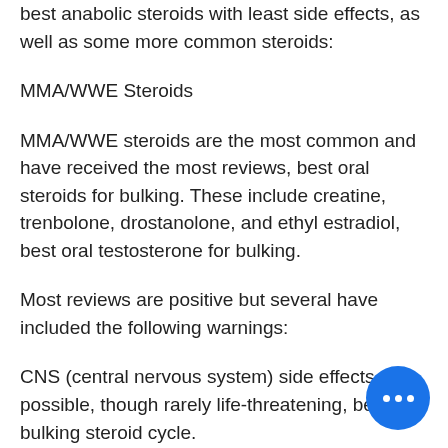best anabolic steroids with least side effects, as well as some more common steroids:
MMA/WWE Steroids
MMA/WWE steroids are the most common and have received the most reviews, best oral steroids for bulking. These include creatine, trenbolone, drostanolone, and ethyl estradiol, best oral testosterone for bulking.
Most reviews are positive but several have included the following warnings:
CNS (central nervous system) side effects are possible, though rarely life-threatening, best oral bulking steroid cycle.
The use of these steroids raises concerns because of the potential for their use to memory development, and as a consequence people who are concerned